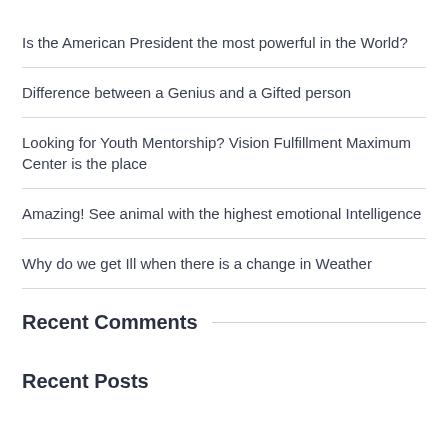Is the American President the most powerful in the World?
Difference between a Genius and a Gifted person
Looking for Youth Mentorship? Vision Fulfillment Maximum Center is the place
Amazing! See animal with the highest emotional Intelligence
Why do we get Ill when there is a change in Weather
Recent Comments
Recent Posts